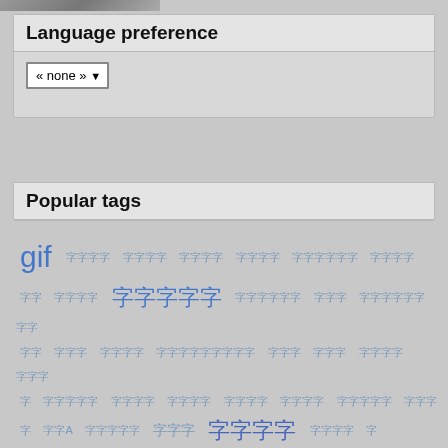[Figure (photo): Partial photo strip at top of page]
Language preference
« none » (dropdown selector)
Popular tags
gif [various tags in East Asian characters at various font sizes forming a tag cloud]